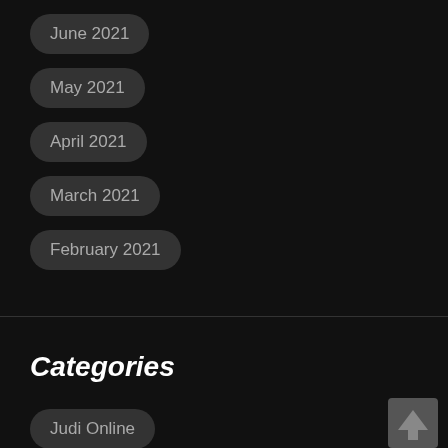June 2021
May 2021
April 2021
March 2021
February 2021
Categories
Judi Online
online Slot
slot
Togel Online